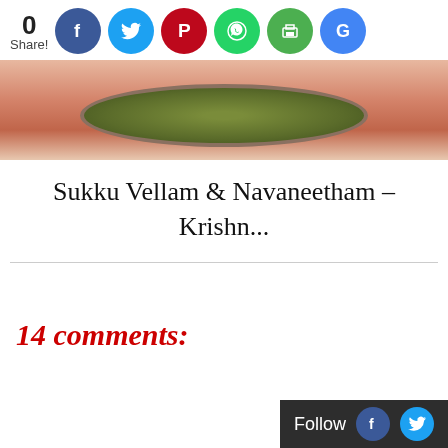[Figure (screenshot): Social share bar with count 0 and Share! label, followed by Facebook, Twitter, Pinterest, WhatsApp, Print, and Google social sharing icon buttons]
[Figure (photo): Close-up top view of a metal container/bowl filled with green dried spice or herb, set against a warm skin-toned background]
Sukku Vellam & Navaneetham - Krishn...
14 comments:
[Figure (screenshot): Follow bar with Facebook and Twitter icons on dark background, positioned bottom right]